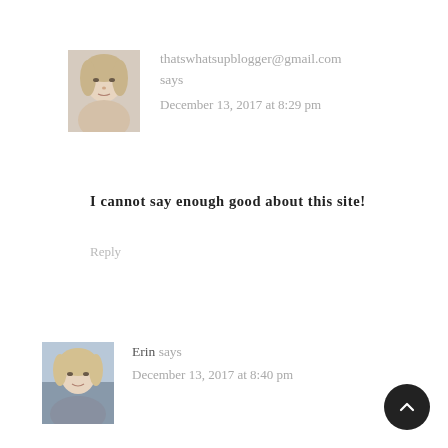[Figure (photo): Avatar photo of a blonde woman, small square thumbnail]
thatswhatsupblogger@gmail.com
says
December 13, 2017 at 8:29 pm
I cannot say enough good about this site!
Reply
[Figure (photo): Avatar photo of a blonde woman in a car, small square thumbnail]
Erin says
December 13, 2017 at 8:40 pm